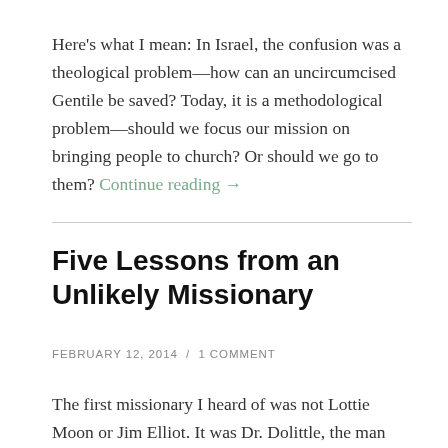Here's what I mean: In Israel, the confusion was a theological problem—how can an uncircumcised Gentile be saved? Today, it is a methodological problem—should we focus our mission on bringing people to church? Or should we go to them? Continue reading →
Five Lessons from an Unlikely Missionary
FEBRUARY 12, 2014  /  1 COMMENT
The first missionary I heard of was not Lottie Moon or Jim Elliot. It was Dr. Dolittle, the man with the curious